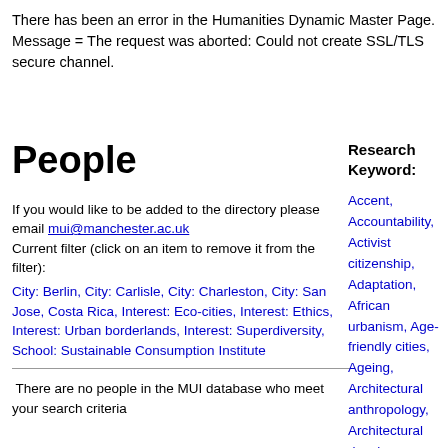There has been an error in the Humanities Dynamic Master Page. Message = The request was aborted: Could not create SSL/TLS secure channel.
People
If you would like to be added to the directory please email mui@manchester.ac.uk
Current filter (click on an item to remove it from the filter):
City: Berlin, City: Carlisle, City: Charleston, City: San Jose, Costa Rica, Interest: Eco-cities, Interest: Ethics, Interest: Urban borderlands, Interest: Superdiversity, School: Sustainable Consumption Institute
There are no people in the MUI database who meet your search criteria
Research Keyword:
Accent,
Accountability,
Activist citizenship,
Adaptation, African urbanism, Age-friendly cities,
Ageing,
Architectural anthropology,
Architectural drawing,
Architectural ethnography,
Architecture, Art,
Aspiration,
Atmosphere,
Austerity,